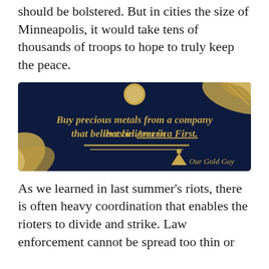should be bolstered. But in cities the size of Minneapolis, it would take tens of thousands of troops to hope to truly keep the peace.
[Figure (illustration): Advertisement for 'Our Gold Guy' — dark navy blue background with gold decorative brush strokes in corners. Text reads: 'Buy precious metals from a company that believes in America First.' with two gold horizontal lines below and an 'Our Gold Guy' logo with mountain/triangle icon at bottom right. A gold circle orb at top center.]
As we learned in last summer's riots, there is often heavy coordination that enables the rioters to divide and strike. Law enforcement cannot be spread too thin or